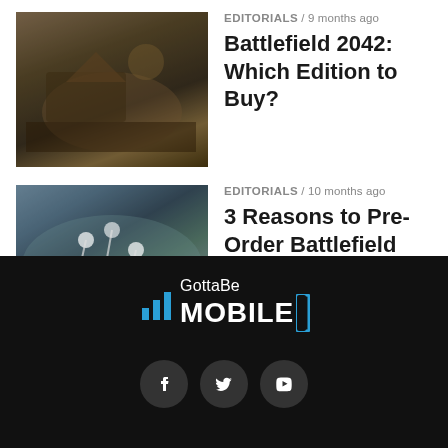[Figure (photo): Battlefield 2042 game screenshot showing military scene with dark tones]
EDITORIALS / 9 months ago
Battlefield 2042: Which Edition to Buy?
[Figure (photo): Battlefield 2042 game screenshot showing soldiers parachuting over green landscape]
EDITORIALS / 10 months ago
3 Reasons to Pre-Order Battlefield 2042 & 4 Reasons to Wait
.
[Figure (logo): GottaBeMobile logo with bar chart icon and blue bracket, white text on black background]
[Figure (illustration): Social media icons: Facebook, Twitter, YouTube on dark circular buttons]